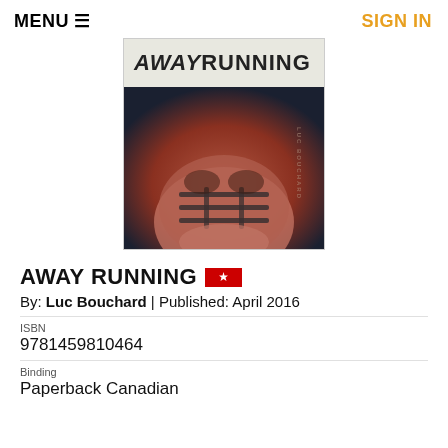MENU ≡   SIGN IN
[Figure (photo): Book cover of 'Away Running' by Luc Bouchard. Top portion shows white band with title 'AWAY RUNNING' in bold italic text. Lower portion shows a reddish-brown tinted image of a football helmet face mask close-up. Author name 'LUC BOUCHARD' appears vertically along the right edge.]
AWAY RUNNING 🍁
By: Luc Bouchard | Published: April 2016
ISBN
9781459810464
Binding
Paperback Canadian